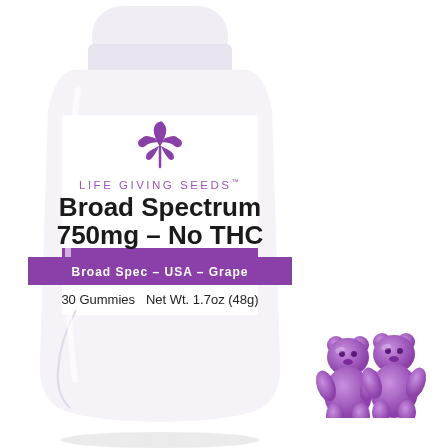[Figure (photo): White cylindrical supplement bottle with purple and white label for Life Giving Seeds Broad Spectrum 750mg No THC grape gummies, with two purple gummy bears in front of the bottle at the bottom right.]